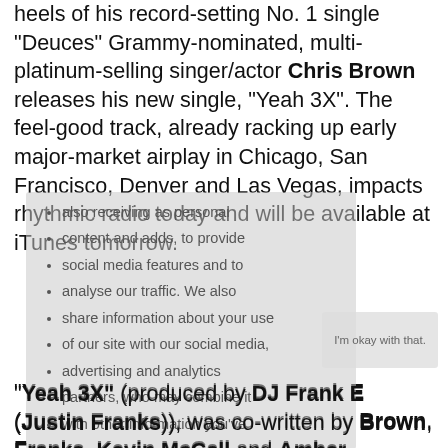heels of his record-setting No. 1 single "Deuces" Grammy-nominated, multi-platinum-selling singer/actor Chris Brown releases his new single, "Yeah 3X". The feel-good track, already racking up early major-market airplay in Chicago, San Francisco, Denver and Las Vegas, impacts rhythmic radio today and will be available at iTunes tomorrow.
"Yeah 3X" (produced by DJ Frank E (Justin Franks)), was co-written by Brown, Franks, Kevin McCall and Amber Streeter. Driving the track's airplay momentum is its high-energy, dance-fueled video, (click to view video) which premiered last week on MTV, MTV Hits, MTV Jams and MTV TR3 as well as VEVO.